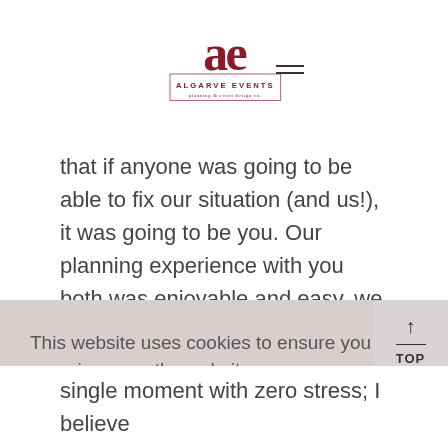[Figure (logo): Algarve Events logo with stylized 'ae' monogram in dark red and text 'ALGARVE EVENTS planning & event design co.' inside a rectangular border]
that if anyone was going to be able to fix our situation (and us!), it was going to be you. Our planning experience with you both was enjoyable and easy, we realise that this is because of the hard work you
This website uses cookies to ensure you have the best experience on the website. Know more
Understood
single moment with zero stress; I believe